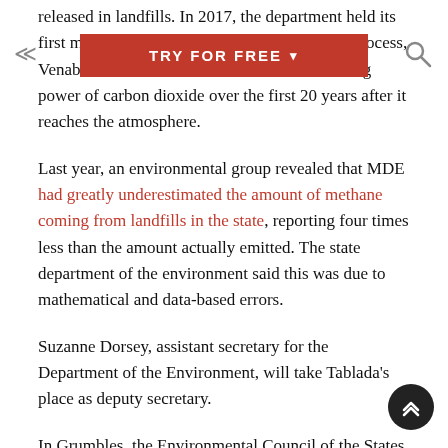released in landfills. In 2017, the department held its first meeting on what new re…s stalled in the process, Venable said. Methane has 80 times the warming power of carbon dioxide over the first 20 years after it reaches the atmosphere.
Last year, an environmental group revealed that MDE had greatly underestimated the amount of methane coming from landfills in the state, reporting four times less than the amount actually emitted. The state department of the environment said this was due to mathematical and data-based errors.
Suzanne Dorsey, assistant secretary for the Department of the Environment, will take Tablada's place as deputy secretary.
In Grumbles, the Environmental Council of the States (ECOS) gets a veteran regulator who has worked in government and has headed a nonprofit, the U.S. Water Alliance. He has also been director of the Arizona Department of Environmental…